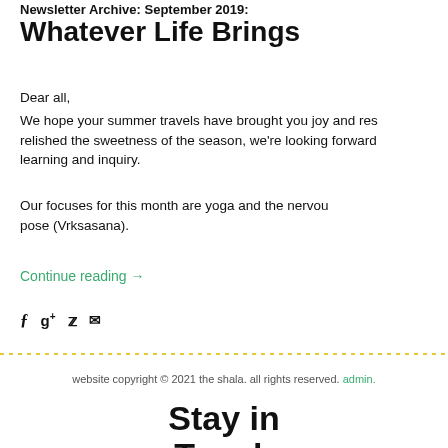Newsletter Archive: September 2019:
Whatever Life Brings
Dear all,
We hope your summer travels have brought you joy and res… relished the sweetness of the season, we're looking forward… learning and inquiry.
Our focuses for this month are yoga and the nervou… pose (Vrksasana).
Continue reading →
[Figure (other): Social share icons: Facebook, Google+, Twitter, Email]
[Figure (other): Yellow dotted divider line]
website copyright © 2021 the shala. all rights reserved. admin.
Stay in Touch